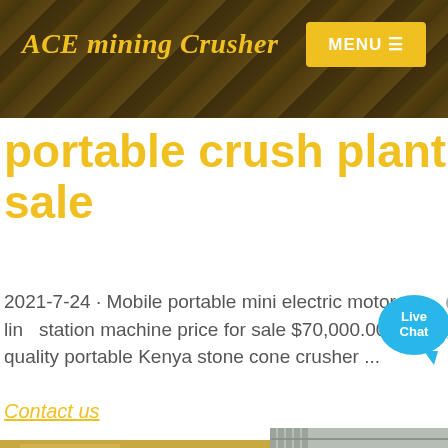ACE mining Crusher | MENU
portable crush plants for sale
2021-7-24 · Mobile portable mini electric motor used tph coal jaw stone cone crusher crushing plant line station machine price for sale $70,000.00 - $160,000.00 / Set 1 Set (Min. Order) Kenya high quality portable Kenya stone cone crusher ...
Contact us